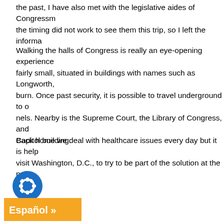the past, I have also met with the legislative aides of Congressm... the timing did not work to see them this trip, so I left the informa...
Walking the halls of Congress is really an eye-opening experience... fairly small, situated in buildings with names such as Longworth,... burn. Once past security, it is possible to travel underground to o... nels. Nearby is the Supreme Court, the Library of Congress, and ... Capitol building.
Back home we deal with healthcare issues every day but it is help... visit Washington, D.C., to try to be part of the solution at the poli...
[Figure (other): Blue circular gear/settings icon button above an orange 'Español »' button]